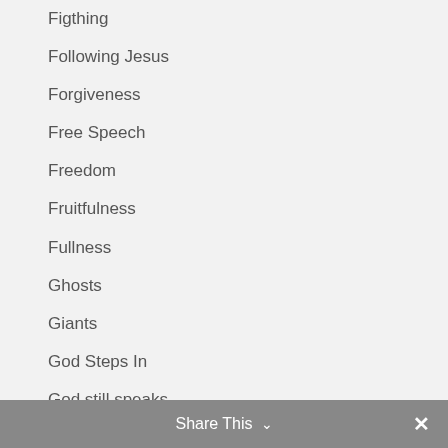Figthing
Following Jesus
Forgiveness
Free Speech
Freedom
Fruitfulness
Fullness
Ghosts
Giants
God Steps In
God still speaks
God's love
God's thankfulness
Gorifying God
Gospel
Share This ∨ ✕